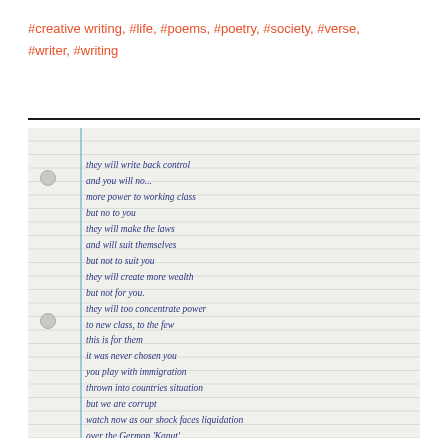#creative writing, #life, #poems, #poetry, #society, #verse, #writer, #writing
[Figure (photo): A handwritten poem on lined notebook paper with punched holes and a blue margin line. The handwritten text reads: they will write back control / and you will no... / more power to working class / but no to you / they will make the laws / and will suit themselves / but not to suit you / they will create more wealth / but not for you. / they will too concentrate power / to new class, to the few / this is for them / it was never chosen you / you play with immigration / thrown into countries situation / but we are corrupt / watch now as our shock faces liquidation / over the German 'Kaput']